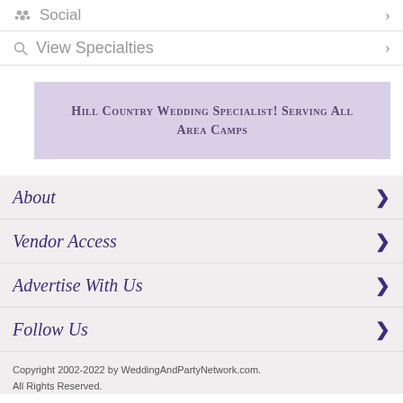Social
View Specialties
Hill Country Wedding Specialist! Serving All Area Camps
About
Vendor Access
Advertise With Us
Follow Us
Copyright 2002-2022 by WeddingAndPartyNetwork.com. All Rights Reserved.